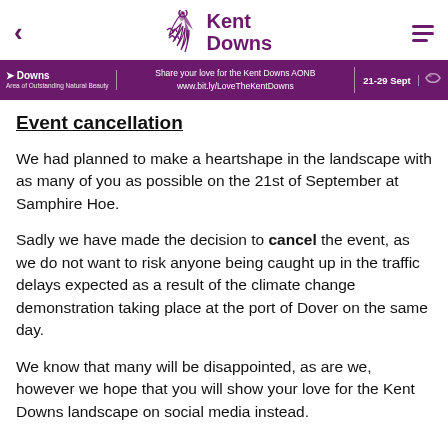Kent Downs
[Figure (infographic): Purple banner with Kent Downs logo on left, text 'Share your love for the Kent Downs AONB www.bit.ly/LoveTheKentDowns' in center, '21-29 Sept' on right]
Event cancellation
We had planned to make a heartshape in the landscape with as many of you as possible on the 21st of September at Samphire Hoe.
Sadly we have made the decision to cancel the event, as we do not want to risk anyone being caught up in the traffic delays expected as a result of the climate change demonstration taking place at the port of Dover on the same day.
We know that many will be disappointed, as are we, however we hope that you will show your love for the Kent Downs landscape on social media instead.